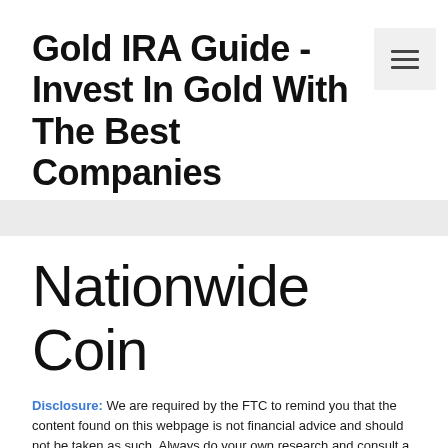Gold IRA Guide - Invest In Gold With The Best Companies
Nationwide Coin
Disclosure: We are required by the FTC to remind you that the content found on this webpage is not financial advice and should not be taken as such. Always do your own research and consult a financial professional before making any investment decisions. The owners of this website may be compensated by Goldco and/or any